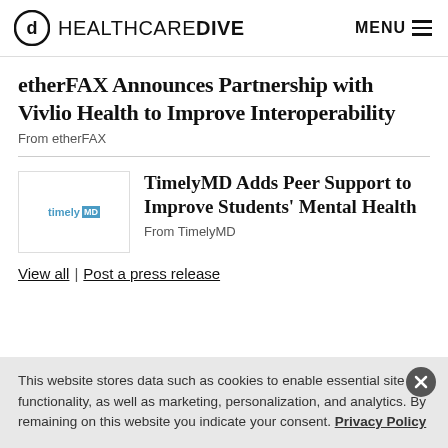HEALTHCARE DIVE | MENU
etherFAX Announces Partnership with Vivlio Health to Improve Interoperability
From etherFAX
TimelyMD Adds Peer Support to Improve Students' Mental Health
From TimelyMD
View all | Post a press release
This website stores data such as cookies to enable essential site functionality, as well as marketing, personalization, and analytics. By remaining on this website you indicate your consent. Privacy Policy